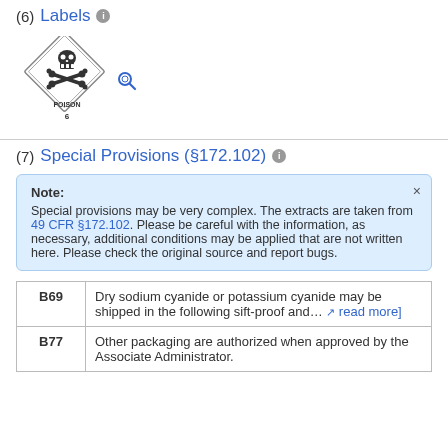(6) Labels
[Figure (illustration): Diamond-shaped hazmat label showing skull and crossbones symbol, 'POISON' text, and number 6, with a magnify icon]
(7) Special Provisions (§172.102)
Note: Special provisions may be very complex. The extracts are taken from 49 CFR §172.102. Please be careful with the information, as necessary, additional conditions may be applied that are not written here. Please check the original source and report bugs.
| Code | Description |
| --- | --- |
| B69 | Dry sodium cyanide or potassium cyanide may be shipped in the following sift-proof and… [read more] |
| B77 | Other packaging are authorized when approved by the Associate Administrator. |